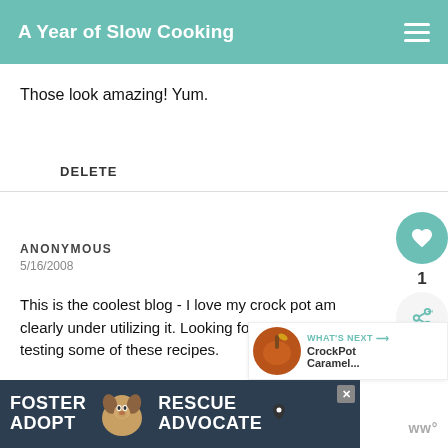A Year of Slow Cooking
Those look amazing! Yum.
DELETE
ANONYMOUS
5/16/2008
This is the coolest blog - I love my crock pot am clearly under utilizing it. Looking forward to testing some of these recipes.
[Figure (screenshot): What's Next callout with CrockPot Caramel... and a thumbnail image]
[Figure (photo): Ad banner: Foster Adopt Advocate with a dog photo]